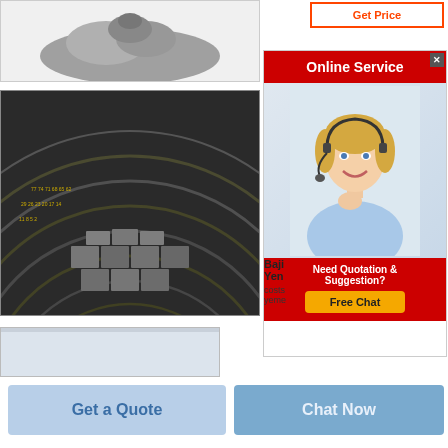[Figure (photo): Gray powder/cement material shown from above on white background]
[Figure (photo): Interior of a rotary kiln or ball mill showing concentric rings with measurement markings and industrial blocks/bricks at the bottom]
[Figure (photo): Partially visible gray box or additional image, cropped at bottom]
[Figure (screenshot): Online Service advertisement banner with red header, female customer service representative with headset, 'Need Quotation & Suggestion? Free Chat' footer]
Baji Yen
costs yeme
Get Price
Get a Quote
Chat Now